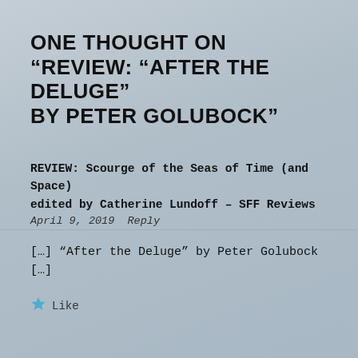ONE THOUGHT ON “REVIEW: “AFTER THE DELUGE” BY PETER GOLUBOCK”
REVIEW: Scourge of the Seas of Time (and Space) edited by Catherine Lundoff – SFF Reviews
April 9, 2019 Reply
[…] “After the Deluge” by Peter Golubock […]
⭐ Like